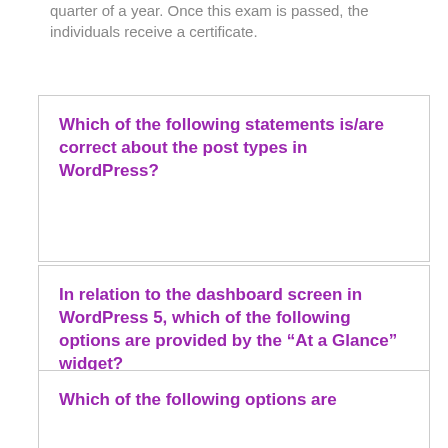quarter of a year. Once this exam is passed, the individuals receive a certificate.
Which of the following statements is/are correct about the post types in WordPress?
In relation to the dashboard screen in WordPress 5, which of the following options are provided by the “At a Glance” widget?
Which of the following options are